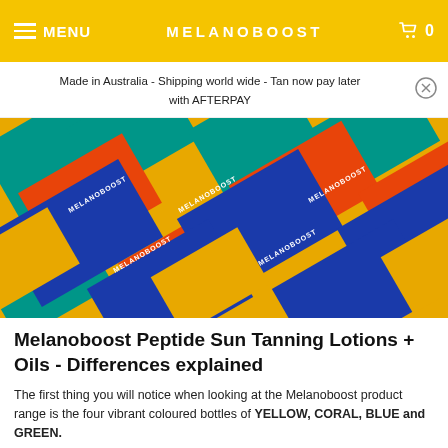MENU  MELANOBOOST  0
Made in Australia - Shipping world wide - Tan now pay later with AFTERPAY
[Figure (photo): Flat lay of multiple Melanoboost product bottles in yellow, orange/coral, blue, and green/teal colors arranged diagonally, all branded with MELANOBOOST logo]
Melanoboost Peptide Sun Tanning Lotions + Oils - Differences explained
The first thing you will notice when looking at the Melanoboost product range is the four vibrant coloured bottles of YELLOW, CORAL, BLUE and GREEN.